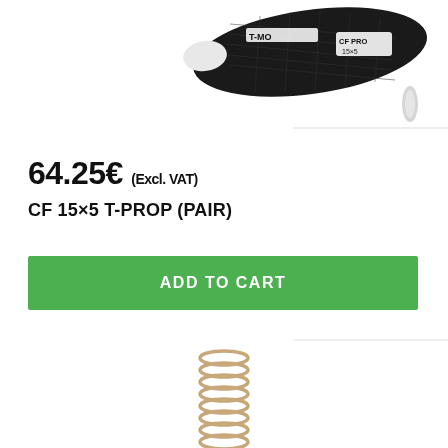[Figure (photo): Close-up photo of a black carbon fiber propeller blade with T-MOTOR logo and text 'CF PRO 15x5' on a white background. A small white clip or mount is visible to the right.]
64.25€ (Excl. VAT)
CF 15×5 T-PROP (PAIR)
ADD TO CART
[Figure (photo): Photo of a metal coil spring on a white background, partially visible at the bottom of the page.]